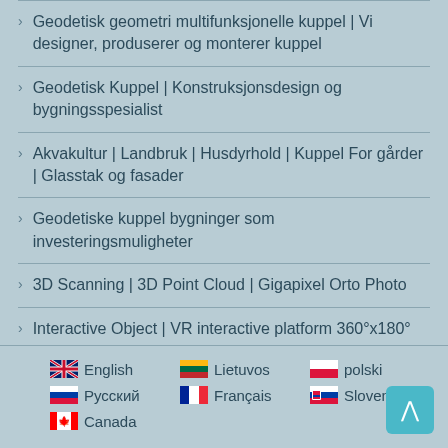Geodetisk geometri multifunksjonelle kuppel | Vi designer, produserer og monterer kuppel
Geodetisk Kuppel | Konstruksjonsdesign og bygningsspesialist
Akvakultur | Landbruk | Husdyrhold | Kuppel For gårder | Glasstak og fasader
Geodetiske kuppel bygninger som investeringsmuligheter
3D Scanning | 3D Point Cloud | Gigapixel Orto Photo
Interactive Object | VR interactive platform 360°x180°
English  Lietuvos  polski  Русский  Français  Slovenčina  Canada